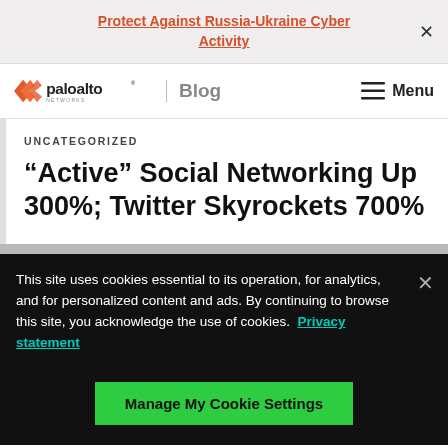Protect Against Russia-Ukraine Cyber Activity
[Figure (logo): Palo Alto Networks logo with Blog label and Menu button]
UNCATEGORIZED
“Active” Social Networking Up 300%; Twitter Skyrockets 700%
This site uses cookies essential to its operation, for analytics, and for personalized content and ads. By continuing to browse this site, you acknowledge the use of cookies. Privacy statement
Manage My Cookie Settings